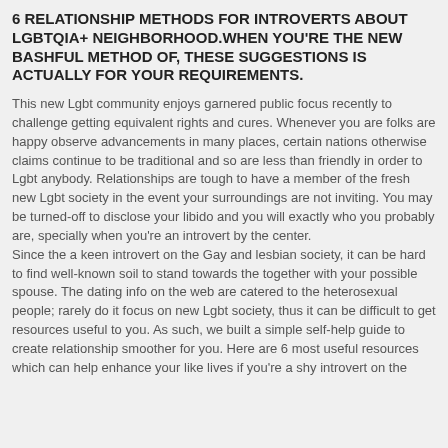6 RELATIONSHIP METHODS FOR INTROVERTS ABOUT LGBTQIA+ NEIGHBORHOOD.WHEN YOU'RE THE NEW BASHFUL METHOD OF, THESE SUGGESTIONS IS ACTUALLY FOR YOUR REQUIREMENTS.
This new Lgbt community enjoys garnered public focus recently to challenge getting equivalent rights and cures. Whenever you are folks are happy observe advancements in many places, certain nations otherwise claims continue to be traditional and so are less than friendly in order to Lgbt anybody. Relationships are tough to have a member of the fresh new Lgbt society in the event your surroundings are not inviting. You may be turned-off to disclose your libido and you will exactly who you probably are, specially when you're an introvert by the center.
Since the a keen introvert on the Gay and lesbian society, it can be hard to find well-known soil to stand towards the together with your possible spouse. The dating info on the web are catered to the heterosexual people; rarely do it focus on new Lgbt society, thus it can be difficult to get resources useful to you. As such, we built a simple self-help guide to create relationship smoother for you. Here are 6 most useful resources which can help enhance your like lives if you're a shy introvert on the